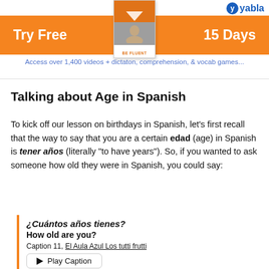[Figure (illustration): Yabla language learning banner with orange background showing 'Try Free' on the left, '15 Days' on the right, a flashcard image in the center, and the Yabla logo in the top right. Below the banner: 'Access over 1,400 videos + dictaton, comprehension, & vocab games...']
Talking about Age in Spanish
To kick off our lesson on birthdays in Spanish, let's first recall that the way to say that you are a certain edad (age) in Spanish is tener años (literally "to have years"). So, if you wanted to ask someone how old they were in Spanish, you could say:
¿Cuántos años tienes?
How old are you?
Caption 11, El Aula Azul Los tutti frutti
▶ Play Caption